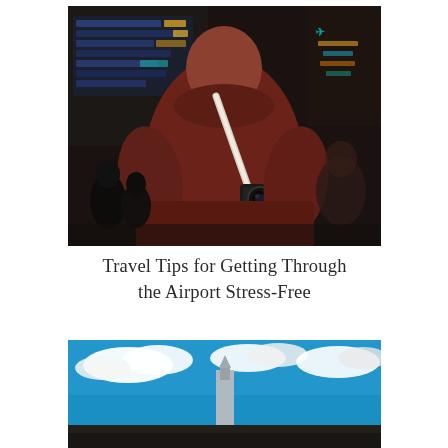[Figure (photo): Person seen from behind wearing a dark red/maroon bomber jacket with a camera hanging on a strap over their shoulder, standing in a busy airport terminal with blue departure board screens visible in the background and blurred people milling around.]
Travel Tips for Getting Through the Airport Stress-Free
[Figure (photo): Partially visible photo showing a blue sky with white clouds and the top of a building or airport structure visible in the lower portion, with a vehicle roof edge at the bottom.]